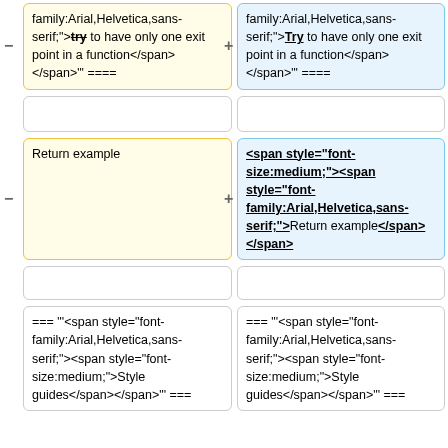family:Arial,Helvetica,sans-serif;">try to have only one exit point in a function</span></span>"' ====
family:Arial,Helvetica,sans-serif;">Try to have only one exit point in a function</span></span>"' ====
Return example
<span style="font-size:medium;"><span style="font-family:Arial,Helvetica,sans-serif;">Return example</span></span>
=== "'<span style="font-family:Arial,Helvetica,sans-serif;"><span style="font-size:medium;">Style guides</span></span>"' ===
=== "'<span style="font-family:Arial,Helvetica,sans-serif;"><span style="font-size:medium;">Style guides</span></span>"' ===